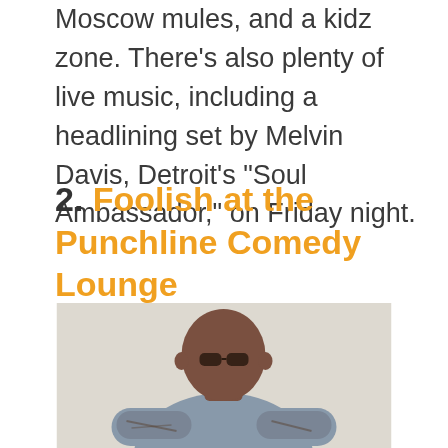Moscow mules, and a kidz zone. There's also plenty of live music, including a headlining set by Melvin Davis, Detroit's “Soul Ambassador,” on Friday night.
2. Foolish at the Punchline Comedy Lounge
[Figure (photo): Photograph of a bald Black man wearing sunglasses and a grey t-shirt, arms crossed, with tattoos visible on his forearms. He is posed against a plain light background.]